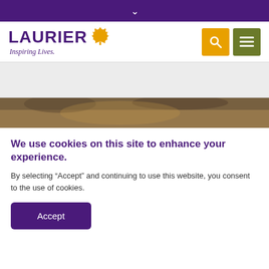Laurier - Inspiring Lives.
[Figure (logo): Wilfrid Laurier University logo with maple leaf and tagline 'Inspiring Lives.']
[Figure (photo): Hero image showing a person outdoors in a natural setting]
We use cookies on this site to enhance your experience.
By selecting “Accept” and continuing to use this website, you consent to the use of cookies.
Accept